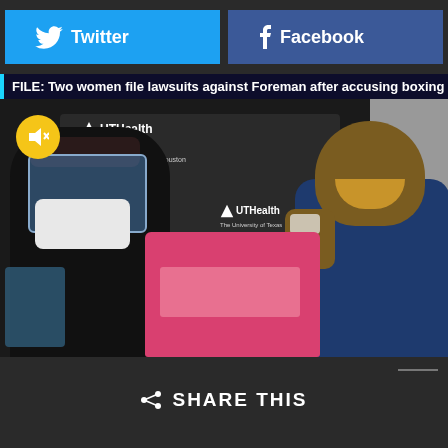[Figure (other): Twitter and Facebook share buttons at top of page]
FILE: Two women file lawsuits against Foreman after accusing boxing legen
[Figure (photo): Photo of George Foreman smiling while receiving a vaccination at UTHealth, with a masked healthcare worker on the left. A pink sharps container is visible in the foreground.]
SHARE THIS